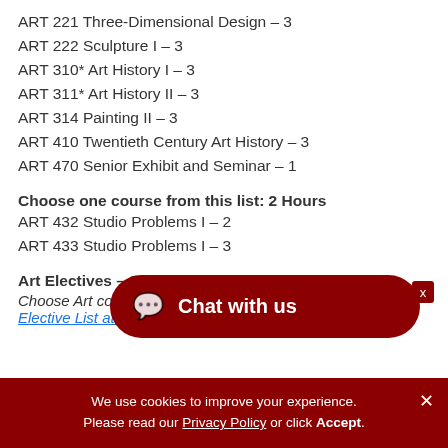ART 221 Three-Dimensional Design – 3
ART 222 Sculpture I – 3
ART 310* Art History I – 3
ART 311* Art History II – 3
ART 314 Painting II – 3
ART 410 Twentieth Century Art History – 3
ART 470 Senior Exhibit and Seminar – 1
Choose one course from this list: 2 Hours
ART 432 Studio Problems I – 2
ART 433 Studio Problems I – 3
Art Electives – 9 Hours
Choose Art courses totaling at least 9 hours from the Art Elective List at the end. Choose courses not
We use cookies to improve your experience. Please read our Privacy Policy or click Accept.